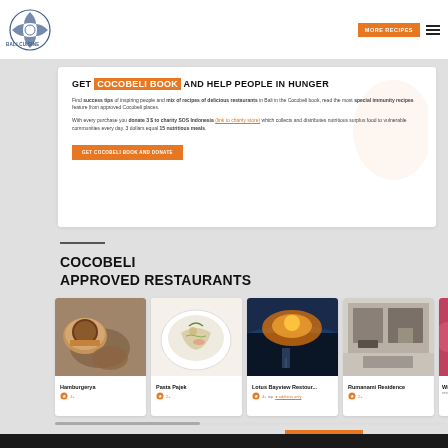[Figure (screenshot): Cocobeli website screenshot showing header with logo and navigation, promotional book section, and approved restaurants listing with food photos]
MORE RECIPES
GET COCOBELI BOOK AND HELP PEOPLE IN HUNGER
Find success tips of inspiring people and mix of recipes of delicious restaurants in Bali in the Cocobeli book, read the most special immunity recipes feature from approved Cocobeli places.
With every purchase you donate 3 $ to charity SOS Indonesia (link to charity store) which collects and distributes nutritious surplus food to vulnerable communities every day. 3 dollars equal 15 nutritious meals.
GET COCOBELI BOOK AND DONATE
COCOBELI APPROVED RESTAURANTS
[Figure (photo): Hamburger food photo]
Hamburgerya
[Figure (photo): Pasta Pajek dish photo]
Pasta Pajek
[Figure (photo): Lotus Bayview Restaurant sunset photo]
Lotus Bayview Restour...
[Figure (photo): Rumanami Residence interior photo]
Rumanami Residence
MORE RESTAURANTS